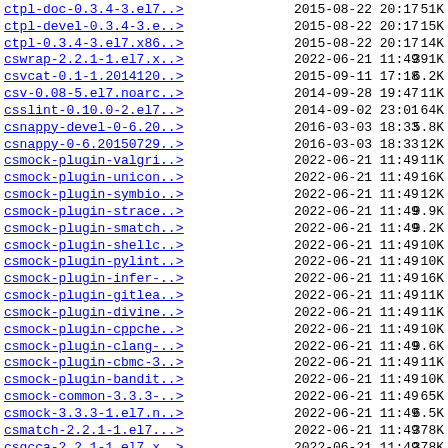| Name | Date | Time | Size |
| --- | --- | --- | --- |
| ctpl-doc-0.3.4-3.el7..> | 2015-08-22 | 20:17 | 51K |
| ctpl-devel-0.3.4-3.e..> | 2015-08-22 | 20:17 | 15K |
| ctpl-0.3.4-3.el7.x86..> | 2015-08-22 | 20:17 | 14K |
| cswrap-2.2.1-1.el7.x..> | 2022-06-21 | 11:49 | 391K |
| csvcat-0.1-1.2014120..> | 2015-09-11 | 17:18 | 6.2K |
| csv-0.08-5.el7.noarc..> | 2014-09-28 | 19:47 | 11K |
| csslint-0.10.0-2.el7..> | 2014-09-02 | 23:01 | 64K |
| csnappy-devel-0-6.20..> | 2016-03-03 | 18:33 | 5.8K |
| csnappy-0-6.20150729..> | 2016-03-03 | 18:33 | 12K |
| csmock-plugin-valgri..> | 2022-06-21 | 11:49 | 11K |
| csmock-plugin-unicon..> | 2022-06-21 | 11:49 | 16K |
| csmock-plugin-symbio..> | 2022-06-21 | 11:49 | 12K |
| csmock-plugin-strace..> | 2022-06-21 | 11:49 | 9.9K |
| csmock-plugin-smatch..> | 2022-06-21 | 11:49 | 9.2K |
| csmock-plugin-shellc..> | 2022-06-21 | 11:49 | 10K |
| csmock-plugin-pylint..> | 2022-06-21 | 11:49 | 10K |
| csmock-plugin-infer-..> | 2022-06-21 | 11:49 | 16K |
| csmock-plugin-gitlea..> | 2022-06-21 | 11:49 | 11K |
| csmock-plugin-divine..> | 2022-06-21 | 11:49 | 11K |
| csmock-plugin-cppche..> | 2022-06-21 | 11:49 | 10K |
| csmock-plugin-clang-..> | 2022-06-21 | 11:49 | 9.6K |
| csmock-plugin-cbmc-3..> | 2022-06-21 | 11:49 | 11K |
| csmock-plugin-bandit..> | 2022-06-21 | 11:49 | 10K |
| csmock-common-3.3.3-..> | 2022-06-21 | 11:49 | 65K |
| csmock-3.3.3-1.el7.n..> | 2022-06-21 | 11:49 | 6.5K |
| csmatch-2.2.1-1.el7...> | 2022-06-21 | 11:49 | 378K |
| csgcca-2.2.1-1.el7.x..> | 2022-06-21 | 11:49 | 378K |
| csexec-2.2.1-1.el7.x..> | 2022-06-21 | 11:49 | 327K |
| csdiff-2.6.0-1.el7.x..> | 2022-06-21 | 11:50 | 704K |
| cscppc-2.2.1-1.el7.x..> | 2022-06-21 | 11:49 | 379K |